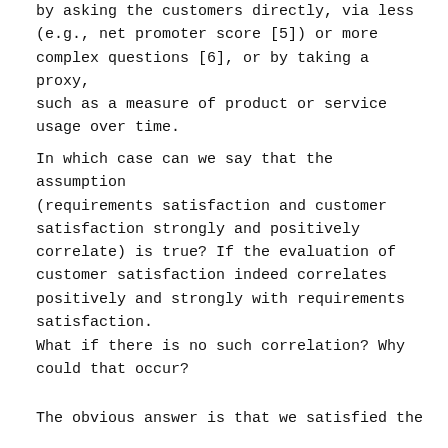by asking the customers directly, via less (e.g., net promoter score [5]) or more complex questions [6], or by taking a proxy, such as a measure of product or service usage over time.
In which case can we say that the assumption (requirements satisfaction and customer satisfaction strongly and positively correlate) is true? If the evaluation of customer satisfaction indeed correlates positively and strongly with requirements satisfaction.
What if there is no such correlation? Why could that occur?
The obvious answer is that we satisfied the